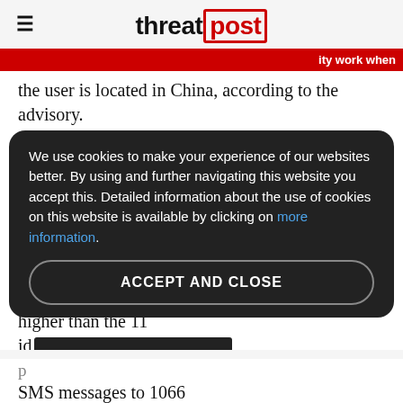threatpost
ity work when the user is located in China, according to the advisory.
The applications in question, with names like iBook, iCartoon, iCalendar, iMine, iMatch, iGuide, LoveBaby, 3D Cube horror terrible, Sea Ball, Shake Break and ShakeBanger, were all developed by a publisher called "zsone" and published in the Android Market. However, the actual number of affected applications may be higher than the 11 id...
We use cookies to make your experience of our websites better. By using and further navigating this website you accept this. Detailed information about the use of cookies on this website is available by clicking on more information.
ACCEPT AND CLOSE
p...
SMS messages to 1066...